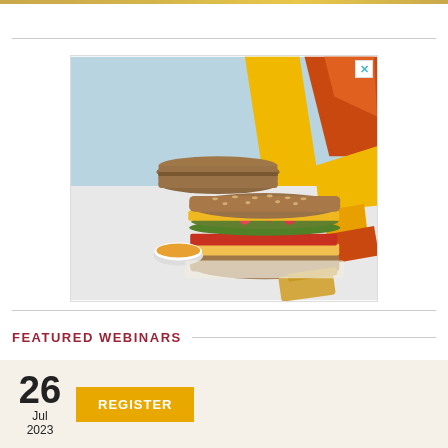[Figure (photo): Food advertisement showing a sandwich with whole grain bread, layered vegetables, and cheese, with geometric yellow and orange shapes in background. Light blue upper background. A small bowl of sauce visible.]
FEATURED WEBINARS
26 Jul 2023 REGISTER